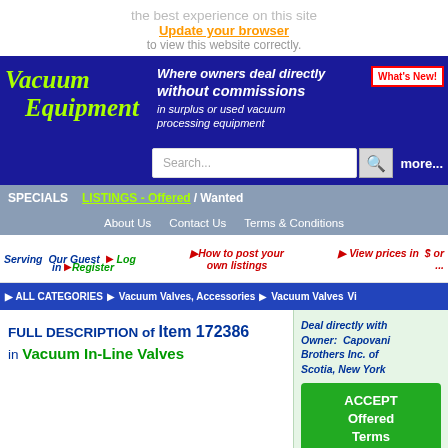the best experience on this site
Update your browser
to view this website correctly.
[Figure (screenshot): Vacuum Equipment website header with blue banner, logo, search bar, navigation menus, category breadcrumb, and item listing for Item 172386 in Vacuum In-Line Valves with Capovani Brothers Inc. contact panel]
FULL DESCRIPTION of Item 172386 in Vacuum In-Line Valves
Deal directly with Owner: Capovani Brothers Inc. of Scotia, New York
ACCEPT Offered Terms